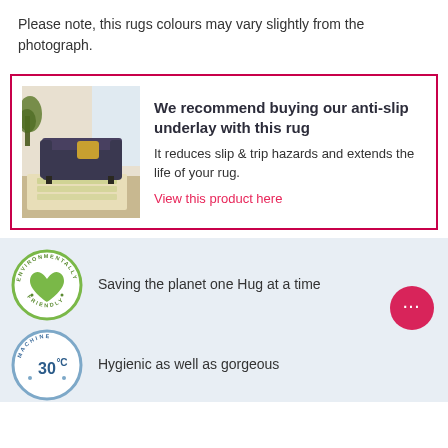Please note, this rugs colours may vary slightly from the photograph.
We recommend buying our anti-slip underlay with this rug
It reduces slip & trip hazards and extends the life of your rug.
View this product here
[Figure (photo): Photo of a living room with a patterned rug, dark sofa, and plant]
[Figure (logo): Environmentally Friendly circular badge with green heart]
Saving the planet one Hug at a time
[Figure (logo): Machine wash 30 degrees circular badge]
Hygienic as well as gorgeous